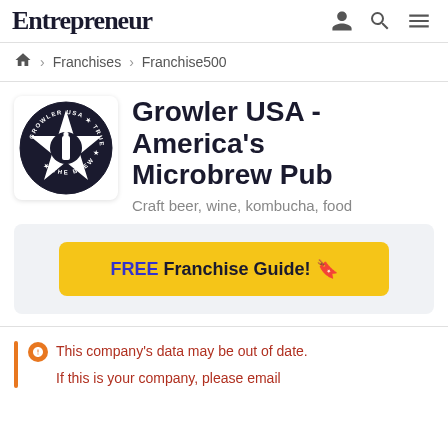Entrepreneur
Franchises > Franchise500
Growler USA - America's Microbrew Pub
Craft beer, wine, kombucha, food
FREE Franchise Guide! 🔖
This company's data may be out of date. If this is your company, please email